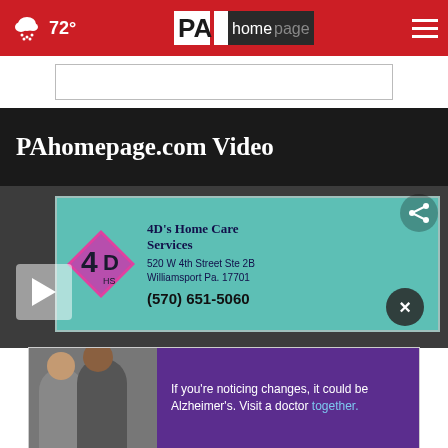72° PA homepage
PAhomepage.com Video
[Figure (screenshot): Video thumbnail showing sign for 4D's Home Care Services, 520 W 4th Street Ste 2B, Williamsport Pa. 17701, (570) 651-5060 with play button overlay and share/close controls]
[Figure (infographic): Advertisement banner: If you're noticing changes, it could be Alzheimer's. Visit a doctor together. (shown in purple background with photo of two men)]